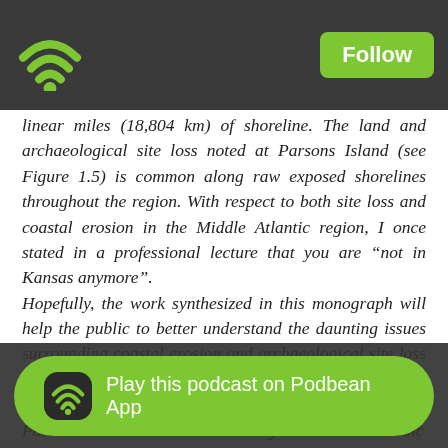Follow
linear miles (18,804 km) of shoreline. The land and archaeological site loss noted at Parsons Island (see Figure 1.5) is common along raw exposed shorelines throughout the region. With respect to both site loss and coastal erosion in the Middle Atlantic region, I once stated in a professional lecture that you are “not in Kansas anymore”.
Hopefully, the work synthesized in this monograph will help the public to better understand the daunting issues surrounding coastal erosion and archaeological site loss in the Chesapeake Bay area. Between 1992 and 2018 along solely a ~360-meter (~1180 feet) section of Parsons Island’s southwestern margin, over 55,000 cubic ... ment ... uring
Play this podcast on Podbean App